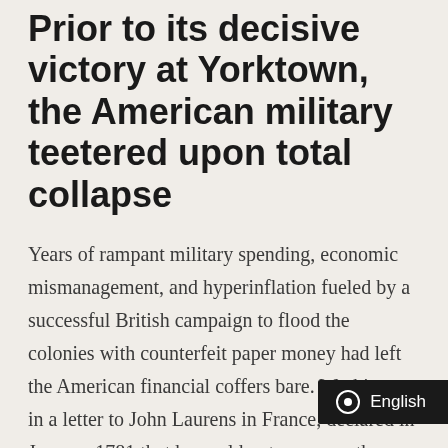Prior to its decisive victory at Yorktown, the American military teetered upon total collapse
Years of rampant military spending, economic mismanagement, and hyperinflation fueled by a successful British campaign to flood the colonies with counterfeit paper money had left the American financial coffers bare. Washington, in a letter to John Laurens in France, declared in January 1781 that he could not even pay the teamsters that were required to bring supplies to his troops. A gloomy and frustrated Washington admitted that “we are at the end of our tether, and that now or never our deliverance must come.” French set[...] [...] of British [...]